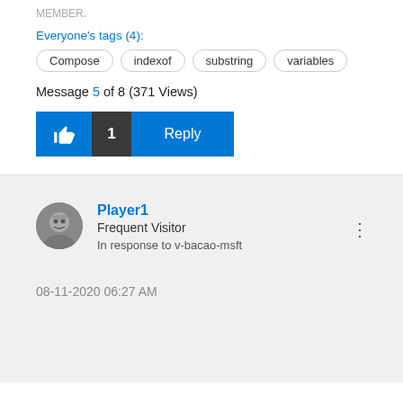Everyone's tags (4):
Compose
indexof
substring
variables
Message 5 of 8 (371 Views)
[Figure (other): Like button with thumbs up icon and count 1, and Reply button]
Player1
Frequent Visitor
In response to v-bacao-msft
08-11-2020 06:27 AM